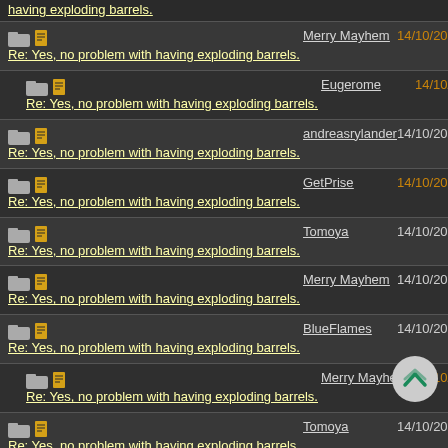having exploding barrels. (partial, top) | Merry Mayhem | 14/10/20 08:50 PM
Re: Yes, no problem with having exploding barrels. | Merry Mayhem | 14/10/20 08:50 PM
Re: Yes, no problem with having exploding barrels. | Eugerome | 14/10/20 09:02 PM
Re: Yes, no problem with having exploding barrels. | andreasrylander | 14/10/20 08:53 PM
Re: Yes, no problem with having exploding barrels. | GetPrise | 14/10/20 09:00 PM
Re: Yes, no problem with having exploding barrels. | Tomoya | 14/10/20 09:01 PM
Re: Yes, no problem with having exploding barrels. | Merry Mayhem | 14/10/20 09:04 PM
Re: Yes, no problem with having exploding barrels. | BlueFlames | 14/10/20 09:38 PM
Re: Yes, no problem with having exploding barrels. | Merry Mayhem | 14/10/20 09:45 PM
Re: Yes, no problem with having exploding barrels. | Tomoya | 14/10/20 09:53 PM